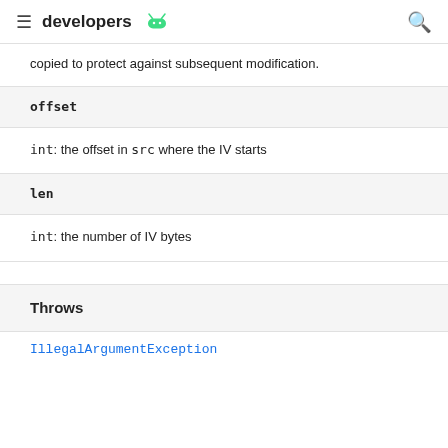developers
copied to protect against subsequent modification.
offset
int: the offset in src where the IV starts
len
int: the number of IV bytes
Throws
IllegalArgumentException